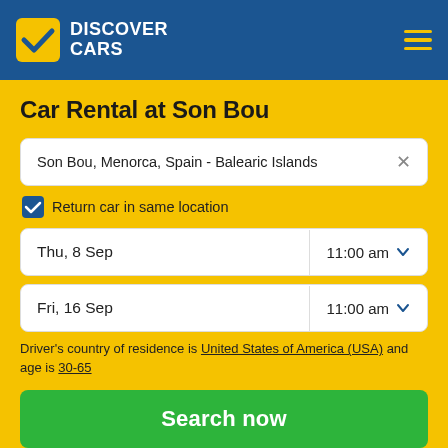DISCOVER CARS
Car Rental at Son Bou
Son Bou, Menorca, Spain - Balearic Islands
Return car in same location
Thu, 8 Sep  11:00 am
Fri, 16 Sep  11:00 am
Driver's country of residence is United States of America (USA) and age is 30-65
Search now
✓ No Hidden Costs ✓ 24/7 Support ✓ Free Cancellation